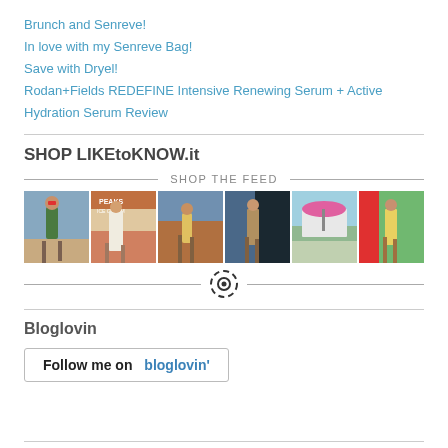Brunch and Senreve!
In love with my Senreve Bag!
Save with Dryel!
Rodan+Fields REDEFINE Intensive Renewing Serum + Active Hydration Serum Review
SHOP LIKEtoKNOW.it
[Figure (photo): SHOP THE FEED — a horizontal strip of 6 fashion/lifestyle Instagram photos showing women in various outfits at different locations]
Bloglovin
[Figure (logo): Follow me on bloglovin' button]